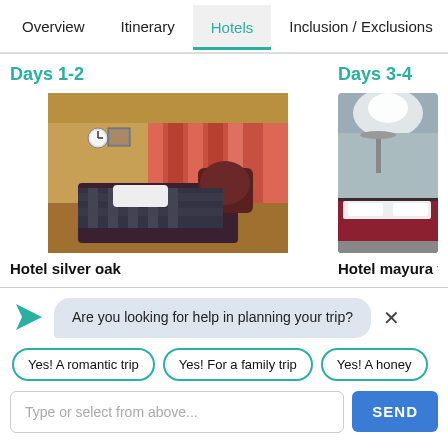Overview  Itinerary  Hotels  Inclusion / Exclusions  FAQ
Days 1-2
[Figure (photo): Hotel room interior with red curtains and a double bed with checkered bedspread]
Hotel silver oak
Days 3-4
[Figure (photo): Hotel room interior with bright lighting and a bed with white and dark red bedding]
Hotel mayura va...
Are you looking for help in planning your trip?
Yes! A romantic trip
Yes! For a family trip
Yes! A honey...